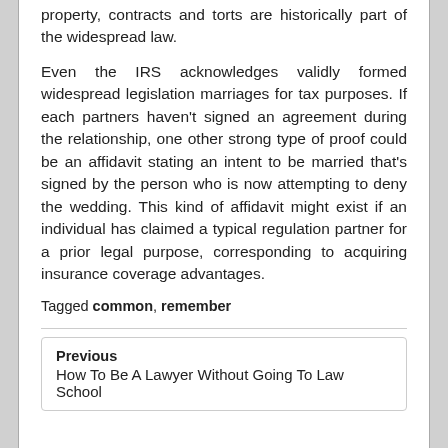property, contracts and torts are historically part of the widespread law.
Even the IRS acknowledges validly formed widespread legislation marriages for tax purposes. If each partners haven't signed an agreement during the relationship, one other strong type of proof could be an affidavit stating an intent to be married that's signed by the person who is now attempting to deny the wedding. This kind of affidavit might exist if an individual has claimed a typical regulation partner for a prior legal purpose, corresponding to acquiring insurance coverage advantages.
Tagged common, remember
Previous
How To Be A Lawyer Without Going To Law School